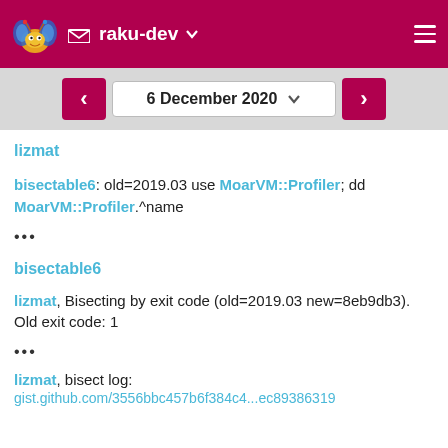raku-dev
6 December 2020
lizmat
bisectable6: old=2019.03 use MoarVM::Profiler; dd MoarVM::Profiler.^name
•••
bisectable6
lizmat, Bisecting by exit code (old=2019.03 new=8eb9db3). Old exit code: 1
•••
lizmat, bisect log:
gist.github.com/3556bbc457b6f384c4...ec89386319